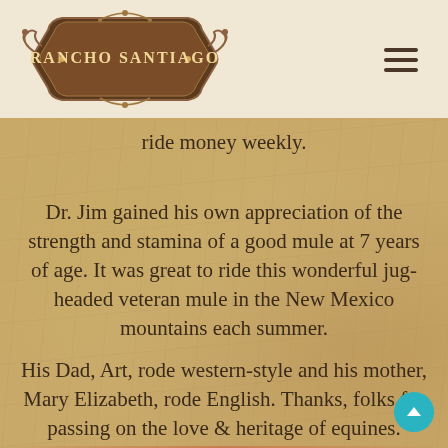[Figure (logo): Rancho Santiago logo — ornate brown badge/shield shape with decorative scrollwork, text 'RANCHO SANTIAGO' in capital letters]
[Figure (other): Hamburger menu icon — three horizontal dark lines]
ride money weekly.
Dr. Jim gained his own appreciation of the strength and stamina of a good mule at 7 years of age. It was great to ride this wonderful jug-headed veteran mule in the New Mexico mountains each summer.
His Dad, Art, rode western-style and his mother, Mary Elizabeth, rode English. Thanks, folks for passing on the love & heritage of equines.